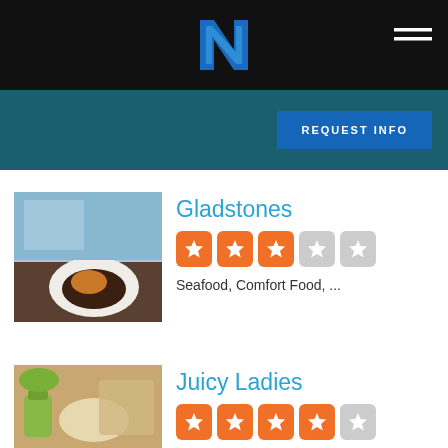Navigation header with logo and menu icon
REQUEST INFO
Gladstones
[Figure (photo): Photo of a plated seafood dish on a white plate, restaurant table with ocean view in background]
3 out of 5 stars rating
Seafood, Comfort Food, ...
Juicy Ladies
[Figure (photo): Photo of food with green drink/smoothie, outdoor restaurant setting]
4.5 out of 5 stars rating